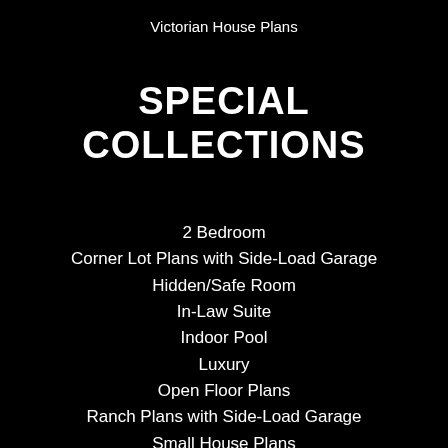Victorian House Plans
SPECIAL COLLECTIONS
2 Bedroom
Corner Lot Plans with Side-Load Garage
Hidden/Safe Room
In-Law Suite
Indoor Pool
Luxury
Open Floor Plans
Ranch Plans with Side-Load Garage
Small House Plans
2 Story
Wraparound Porches